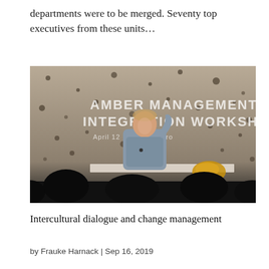departments were to be merged. Seventy top executives from these units…
[Figure (photo): A speaker presenting at the Amber Management Integration Workshop, April 12-13, with text displayed on a speckled wall behind them and audience silhouettes in the foreground.]
Intercultural dialogue and change management
by Frauke Harnack | Sep 16, 2019